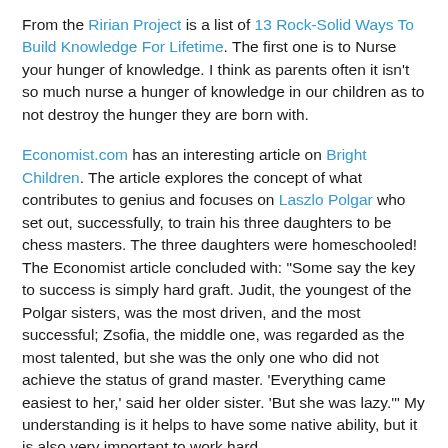From the Ririan Project is a list of 13 Rock-Solid Ways To Build Knowledge For Lifetime. The first one is to Nurse your hunger of knowledge. I think as parents often it isn't so much nurse a hunger of knowledge in our children as to not destroy the hunger they are born with.
Economist.com has an interesting article on Bright Children. The article explores the concept of what contributes to genius and focuses on Laszlo Polgar who set out, successfully, to train his three daughters to be chess masters. The three daughters were homeschooled! The Economist article concluded with: "Some say the key to success is simply hard graft. Judit, the youngest of the Polgar sisters, was the most driven, and the most successful; Zsofia, the middle one, was regarded as the most talented, but she was the only one who did not achieve the status of grand master. 'Everything came easiest to her,' said her older sister. 'But she was lazy.'" My understanding is it helps to have some native ability, but it is also very important to work hard.
Ever time I read something like GWU Raises Tuition to More